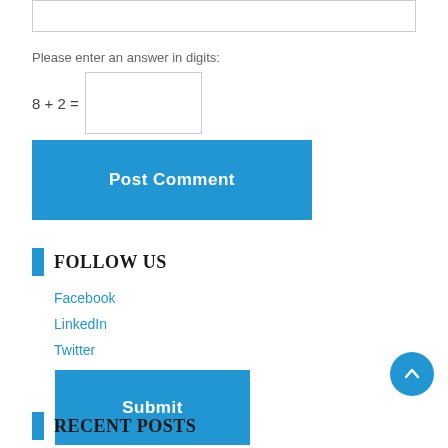Please enter an answer in digits:
Post Comment
FOLLOW US
Facebook
LinkedIn
Twitter
Submit
RECENT POSTS